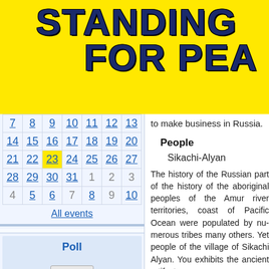STANDING FOR PEA[CE]
| 7 | 8 | 9 | 10 | 11 | 12 | 13 |
| 14 | 15 | 16 | 17 | 18 | 19 | 20 |
| 21 | 22 | 23 | 24 | 25 | 26 | 27 |
| 28 | 29 | 30 | 31 | 1 | 2 | 3 |
| 4 | 5 | 6 | 7 | 8 | 9 | 10 |
All events
Poll
Vote!
to make business in Russia.
People
Sikachi-Alyan
The history of the Russian part of the history of the aboriginal peoples of the Amur river territories, coast of Pacific Ocean were populated by numerous tribes many others. Yet people of the ancient village of Sikachi Alyan. You exhibits the ancient artifacts o
Nanaians are considered of their ancient history and or